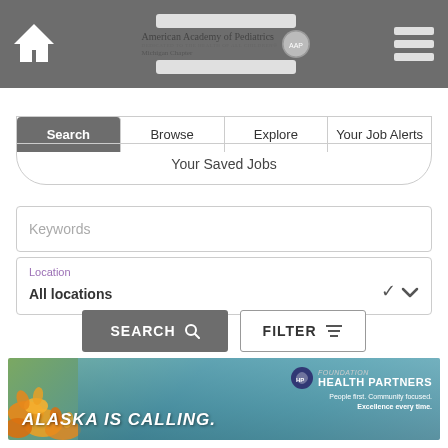[Figure (screenshot): Website header with home icon, American Academy of Pediatrics Michigan Chapter logo, and hamburger menu]
Search | Browse | Explore | Your Job Alerts
Your Saved Jobs
Keywords
Location
All locations
SEARCH  FILTER
[Figure (photo): Alaska Is Calling banner ad with Foundation Health Partners logo. Text: ALASKA IS CALLING. People first. Community focused. Excellence every time.]